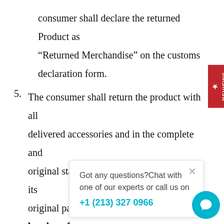consumer shall declare the returned Product as “Returned Merchandise” on the customs declaration form.
5. The consumer shall return the product with all delivered accessories and in the complete and original state and, to the extent possible, in its original packaging. The risk and the burden of proof for the corr[ect exercise of the] right of withdraw[al lies with the consumer].
6. If the consumer t[imely exercises the right of withdrawal,] Danyal Paraiba w[ill reimburse all] payments received from the consumer, without undue delay and in any event not later tha[n 14] calendar days from the day on which Danyal [Paraiba received notice of the consumer’s decision].